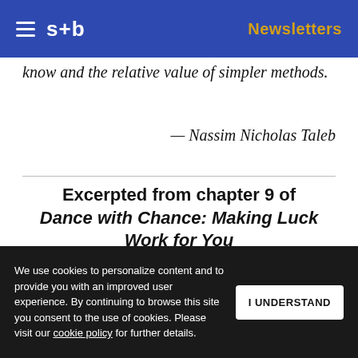≡  s+b    Newsletters
know and the relative value of simpler methods.
— Nassim Nicholas Taleb
Excerpted from chapter 9 of Dance with Chance: Making Luck Work for You
As an expert in statistics, working in a
We use cookies to personalize content and to provide you with an improved user experience. By continuing to browse this site you consent to the use of cookies. Please visit our cookie policy for further details.